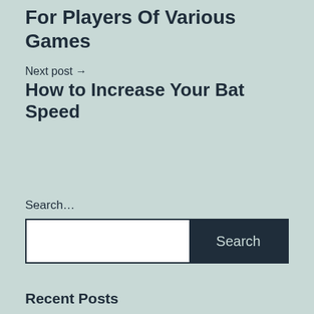For Players Of Various Games
Next post →
How to Increase Your Bat Speed
Search…
Recent Posts